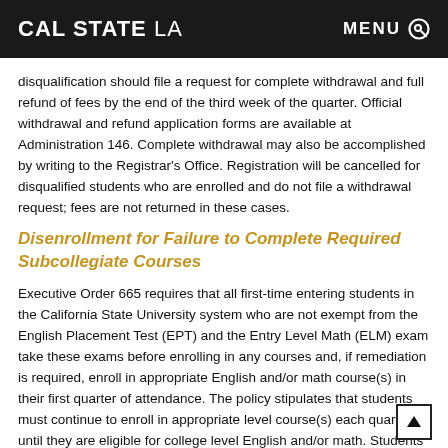CAL STATE LA | MENU
disqualification should file a request for complete withdrawal and full refund of fees by the end of the third week of the quarter. Official withdrawal and refund application forms are available at Administration 146. Complete withdrawal may also be accomplished by writing to the Registrar's Office. Registration will be cancelled for disqualified students who are enrolled and do not file a withdrawal request; fees are not returned in these cases.
Disenrollment for Failure to Complete Required Subcollegiate Courses
Executive Order 665 requires that all first-time entering students in the California State University system who are not exempt from the English Placement Test (EPT) and the Entry Level Math (ELM) exam take these exams before enrolling in any courses and, if remediation is required, enroll in appropriate English and/or math course(s) in their first quarter of attendance. The policy stipulates that students must continue to enroll in appropriate level course(s) each quarter until they are eligible for college level English and/or math. Students have three consecutive academic quarters, starting with their first quarter at Cal State L.A., to complete these requirements. In addition, campus policy requires that students move directly into their college level